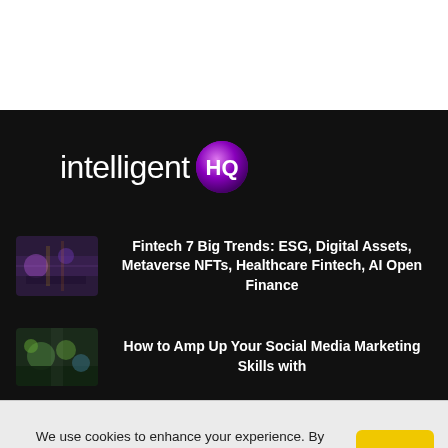[Figure (logo): intelligentHQ logo: word 'intelligent' in white light font, followed by 'HQ' in white bold text on a purple gradient circle badge]
[Figure (photo): Thumbnail image for fintech trends article - city/technology aerial image]
Fintech 7 Big Trends: ESG, Digital Assets, Metaverse NFTs, Healthcare Fintech, AI Open Finance
[Figure (photo): Thumbnail image for social media marketing article]
How to Amp Up Your Social Media Marketing Skills with
We use cookies to enhance your experience. By continuing to visit this site you agree to our use of cookies. More info